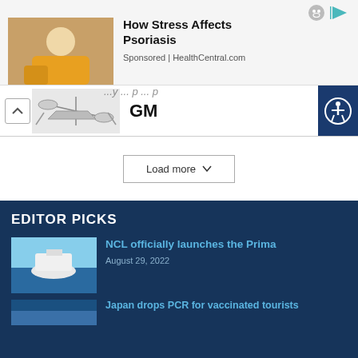[Figure (photo): Advertisement banner: woman in yellow sweater scratching arm, with ad icons top right]
How Stress Affects Psoriasis
Sponsored | HealthCentral.com
[Figure (photo): Navigation row with drone/aircraft image and GM text, accessibility button on right]
GM
Load more
EDITOR PICKS
[Figure (photo): Cruise ship on water - NCL Prima article thumbnail]
NCL officially launches the Prima
August 29, 2022
Japan drops PCR for vaccinated tourists